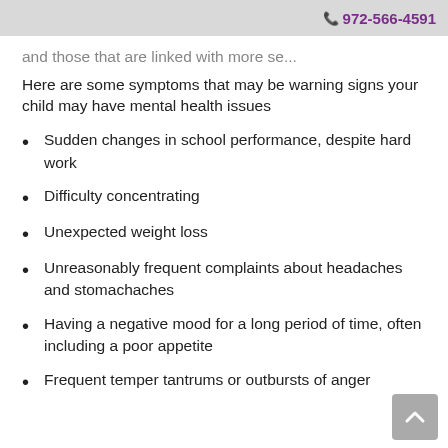972-566-4591
and those that are linked with more se...
Here are some symptoms that may be warning signs your child may have mental health issues
Sudden changes in school performance, despite hard work
Difficulty concentrating
Unexpected weight loss
Unreasonably frequent complaints about headaches and stomachaches
Having a negative mood for a long period of time, often including a poor appetite
Frequent temper tantrums or outbursts of anger